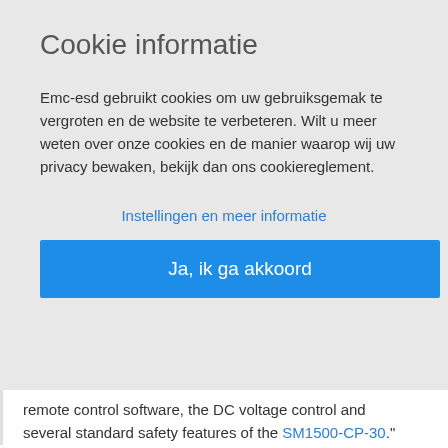Cookie informatie
Emc-esd gebruikt cookies om uw gebruiksgemak te vergroten en de website te verbeteren. Wilt u meer weten over onze cookies en de manier waarop wij uw privacy bewaken, bekijk dan ons cookiereglement.
Instellingen en meer informatie
Ja, ik ga akkoord
remote control software, the DC voltage control and several standard safety features of the SM1500-CP-30."
Realisation of the 60kW DC Simulation system